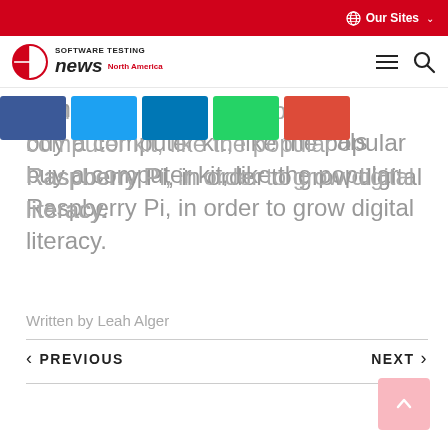Our Sites
SOFTWARE TESTING news North America
Hanni als ge th er ould buy a computer kit, like the popular Raspberry Pi, in order to grow digital literacy.
Written by Leah Alger